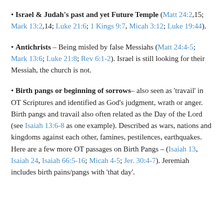Israel & Judah's past and yet Future Temple (Matt 24:2,15; Mark 13:2,14; Luke 21:6; 1 Kings 9:7, Micah 3:12; Luke 19:44).
Antichrists – Being misled by false Messiahs (Matt 24:4-5; Mark 13:6; Luke 21:8; Rev 6:1-2). Israel is still looking for their Messiah, the church is not.
Birth pangs or beginning of sorrows– also seen as 'travail' in OT Scriptures and identified as God's judgment, wrath or anger. Birth pangs and travail also often related as the Day of the Lord (see Isaiah 13:6-8 as one example). Described as wars, nations and kingdoms against each other, famines, pestilences, earthquakes. Here are a few more OT passages on Birth Pangs – (Isaiah 13, Isaiah 24, Isaiah 66:5-16; Micah 4-5; Jer. 30:4-7). Jeremiah includes birth pains/pangs with 'that day'.